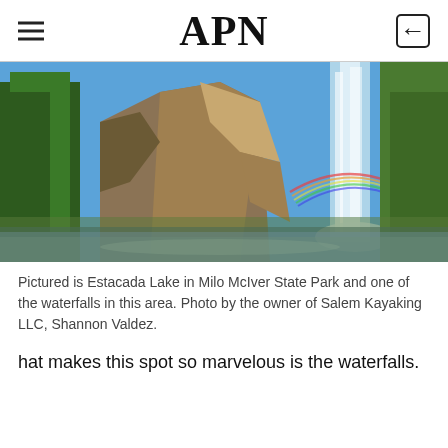APN
[Figure (photo): Photograph of Estacada Lake in Milo McIver State Park showing rocky cliffs, a waterfall with a rainbow, green trees, and calm water reflecting the scene.]
Pictured is Estacada Lake in Milo McIver State Park and one of the waterfalls in this area. Photo by the owner of Salem Kayaking LLC, Shannon Valdez.
hat makes this spot so marvelous is the waterfalls.